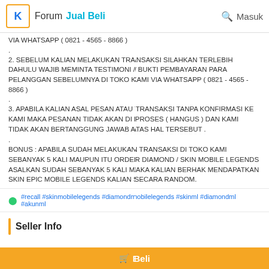Forum  Jual Beli   Masuk
VIA WHATSAPP ( 0821 - 4565 - 8866 )
.
2. SEBELUM KALIAN MELAKUKAN TRANSAKSI SILAHKAN TERLEBIH DAHULU WAJIB MEMINTA TESTIMONI / BUKTI PEMBAYARAN PARA PELANGGAN SEBELUMNYA DI TOKO KAMI VIA WHATSAPP ( 0821 - 4565 - 8866 )
.
3. APABILA KALIAN ASAL PESAN ATAU TRANSAKSI TANPA KONFIRMASI KE KAMI MAKA PESANAN TIDAK AKAN DI PROSES ( HANGUS ) DAN KAMI TIDAK AKAN BERTANGGUNG JAWAB ATAS HAL TERSEBUT .
.
BONUS : APABILA SUDAH MELAKUKAN TRANSAKSI DI TOKO KAMI SEBANYAK 5 KALI MAUPUN ITU ORDER DIAMOND / SKIN MOBILE LEGENDS ASALKAN SUDAH SEBANYAK 5 KALI MAKA KALIAN BERHAK MENDAPATKAN SKIN EPIC MOBILE LEGENDS KALIAN SECARA RANDOM.
#recall #skinmobilelegends #diamondmobilelegends #skinml #diamondml #akunml
Seller Info
Beli